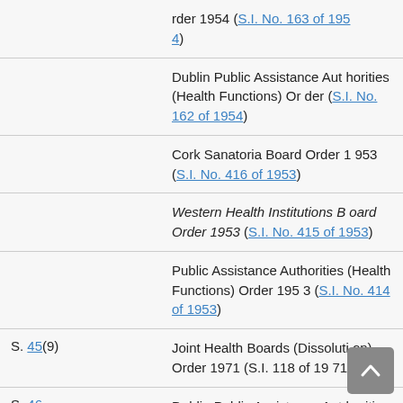| Section | Instrument |
| --- | --- |
|  | rder 1954 (S.I. No. 163 of 1954) |
|  | Dublin Public Assistance Authorities (Health Functions) Order (S.I. No. 162 of 1954) |
|  | Cork Sanatoria Board Order 1953 (S.I. No. 416 of 1953) |
|  | Western Health Institutions Board Order 1953 (S.I. No. 415 of 1953) |
|  | Public Assistance Authorities (Health Functions) Order 1953 (S.I. No. 414 of 1953) |
| S. 45(9) | Joint Health Boards (Dissolution) Order 1971 (S.I. 118 of 1971) |
| S. 46 | Dublin Public Assistance Authorities (Health Functions) Or |